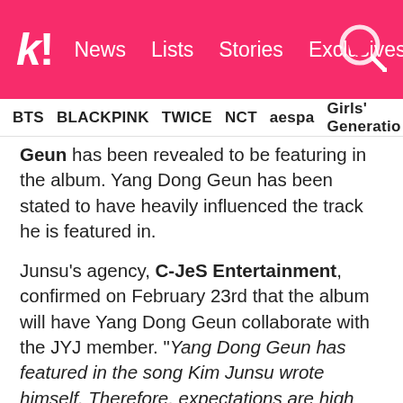k! News Lists Stories Exclusives
BTS BLACKPINK TWICE NCT aespa Girls' Generation
Geun has been revealed to be featuring in the album. Yang Dong Geun has been stated to have heavily influenced the track he is featured in.
Junsu's agency, C-JeS Entertainment, confirmed on February 23rd that the album will have Yang Dong Geun collaborate with the JYJ member. "Yang Dong Geun has featured in the song Kim Junsu wrote himself. Therefore, expectations are high since Yang Dong Geun took part in the making of the rap parts of the song."
As for Yang Dong Geun, the song is...